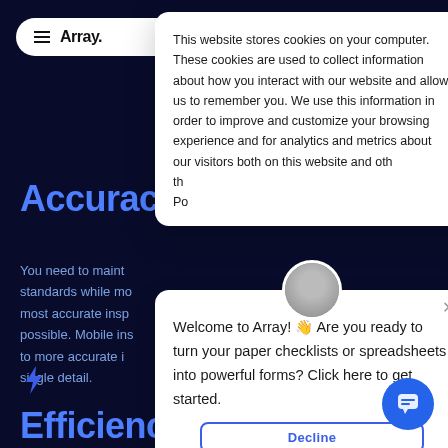[Figure (screenshot): Array brand navigation pill with hamburger icon and brand name 'Array.' on white rounded background]
Accuracy
You need to maint standards while mo most accurate insp possible. Mobile ins to more accurate i single detail.
[Figure (screenshot): Blue lightning bolt icon]
Efficiency
This website stores cookies on your computer. These cookies are used to collect information about how you interact with our website and allow us to remember you. We use this information in order to improve and customize your browsing experience and for analytics and metrics about our visitors both on this website and oth the Po
Welcome to Array! 👋 Are you ready to turn your paper checklists or spreadsheets into powerful forms? Click here to get started.
Decline